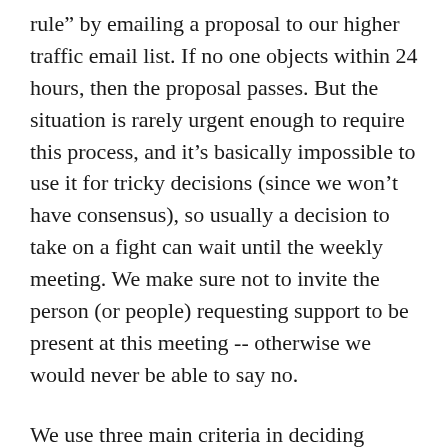rule” by emailing a proposal to our higher traffic email list. If no one objects within 24 hours, then the proposal passes. But the situation is rarely urgent enough to require this process, and it’s basically impossible to use it for tricky decisions (since we won’t have consensus), so usually a decision to take on a fight can wait until the weekly meeting. We make sure not to invite the person (or people) requesting support to be present at this meeting -- otherwise we would never be able to say no.
We use three main criteria in deciding whether to take on a fight: Is the fight compelling enough to motivate our members and supporters? Are the affected workers/tenants ready to participate in the campaign? And, can we win it?